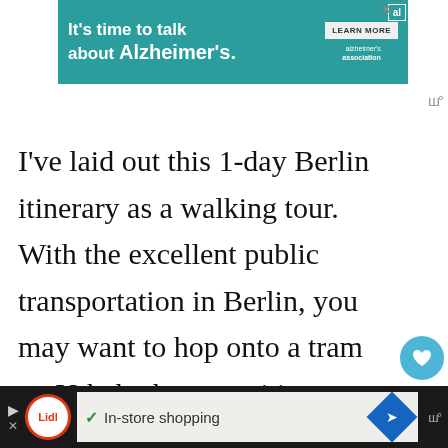[Figure (other): Advertisement banner for Alzheimer's association with teal background, text 'It’s time to talk about Alzheimer’s.' and 'LEARN MORE' button]
I’ve laid out this 1-day Berlin itinerary as a walking tour. With the excellent public transportation in Berlin, you may want to hop onto a tram on U-bahn between itinerary stops to save time though.
[Figure (other): Social share sidebar with heart icon showing 1.2K likes and a share button]
[Figure (other): What's Next panel with image thumbnail and text 'Best Things to Do in Berlin:...']
[Figure (other): Green dashed border box at bottom of content area]
[Figure (other): Bottom advertisement bar - Lidl ad with 'In-store shopping' text, checkmark, and navigation icon]